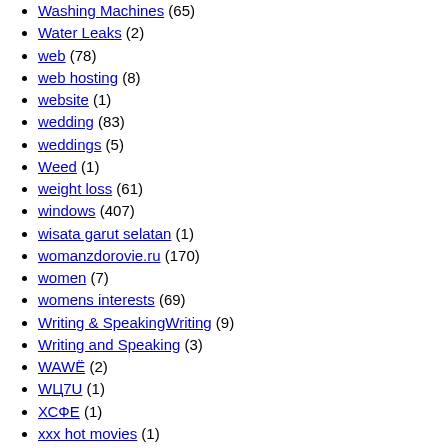Washing Machines (65)
Water Leaks (2)
web (78)
web hosting (8)
website (1)
wedding (83)
weddings (5)
Weed (1)
weight loss (61)
windows (407)
wisata garut selatan (1)
womanzdorovie.ru (170)
women (7)
womens interests (69)
Writing & SpeakingWriting (9)
Writing and Speaking (3)
WAWË (2)
WЦ7U (1)
ХСФЕ (1)
xxx hot movies (1)
У1ДИ (1)
Y8VЙ (33)
Y8ШЁ (1)
YPTM (1)
ZЩФ Я (1)